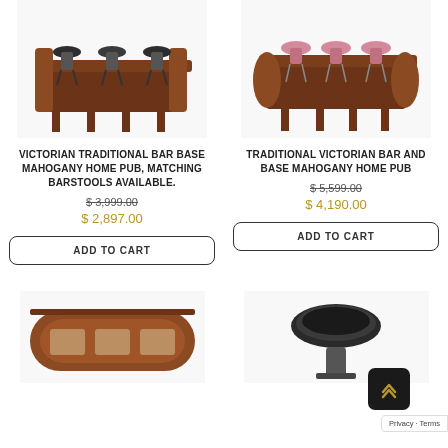[Figure (photo): Victorian Traditional Bar Base Mahogany Home Pub with matching barstools – dark wood bar with black bar stools]
[Figure (photo): Traditional Victorian Bar and Base Mahogany Home Pub – dark wood bar with pink bar stools]
VICTORIAN TRADITIONAL BAR BASE MAHOGANY HOME PUB, MATCHING BARSTOOLS AVAILABLE.
$ 3,999.00
$ 2,897.00
ADD TO CART
TRADITIONAL VICTORIAN BAR AND BASE MAHOGANY HOME PUB
$ 5,599.00
$ 4,190.00
ADD TO CART
[Figure (photo): Bottom left product – rounded mahogany bar furniture piece]
[Figure (photo): Bottom right product – dark wood bar stool or seat]